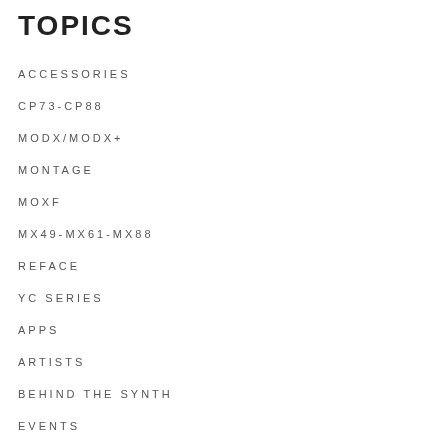TOPICS
ACCESSORIES
CP73-CP88
MODX/MODX+
MONTAGE
MOXF
MX49-MX61-MX88
REFACE
YC SERIES
APPS
ARTISTS
BEHIND THE SYNTH
EVENTS